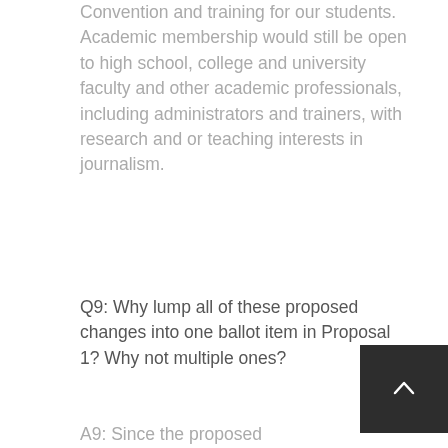Convention and training for our students. Academic membership would still be open to high school, college and university faculty and other academic professionals, including administrators and trainers, with research and or teaching interests in journalism.
Q9: Why lump all of these proposed changes into one ballot item in Proposal 1? Why not multiple ones?
A9: Since the proposed...